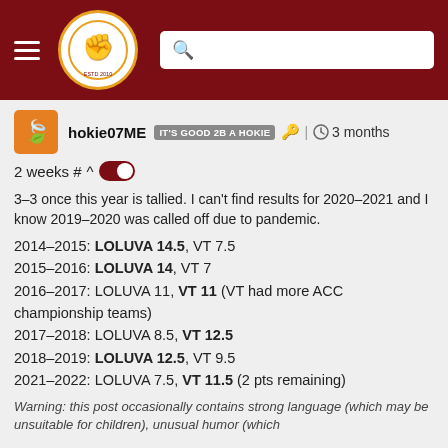The Key Play - navigation header with hamburger menu, logo, and search bar
hokie07ME  IT'S GOOD 2B A HOKIE  🔑 | 🕐 3 months
2 weeks # ^ [toggle]
3-3 once this year is tallied. I can't find results for 2020-2021 and I know 2019-2020 was called off due to pandemic.
2014-2015: LOLUVA 14.5, VT 7.5
2015-2016: LOLUVA 14, VT 7
2016-2017: LOLUVA 11, VT 11 (VT had more ACC championship teams)
2017-2018: LOLUVA 8.5, VT 12.5
2018-2019: LOLUVA 12.5, VT 9.5
2021-2022: LOLUVA 7.5, VT 11.5 (2 pts remaining)
Warning: this post occasionally contains strong language (which may be unsuitable for children), unusual humor (which